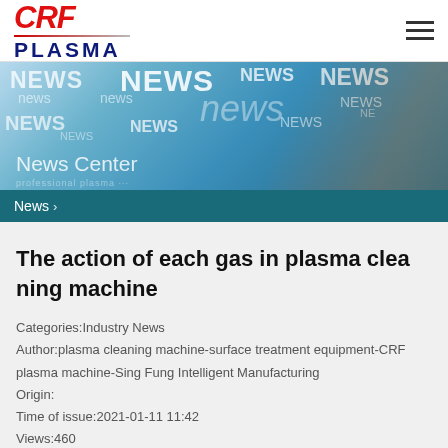[Figure (logo): CRF Plasma logo with red stylized CRF text and dark blue PLASMA text below]
[Figure (photo): News center banner image showing NEWS text overlaid on a background with a hand touching a glowing digital screen]
News >
The action of each gas in plasma cleaning machine
Categories:Industry News
Author:plasma cleaning machine-surface treatment equipment-CRF plasma machine-Sing Fung Intelligent Manufacturing
Origin:
Time of issue:2021-01-11 11:42
Views:460